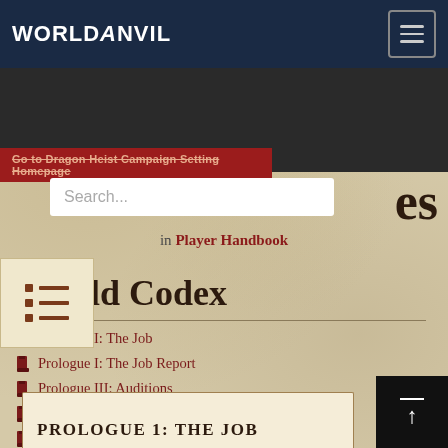WorldAnvil
Go to Dragon Heist Campaign Setting Homepage
Prologues
in Player Handbook
World Codex
Prologue I: The Job
Prologue I: The Job Report
Prologue III: Auditions
The Job
Prologue II: The Investigation Report
PROLOGUE 1: THE JOB